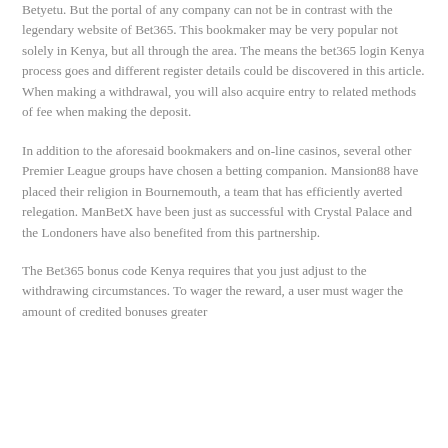Betyetu. But the portal of any company can not be in contrast with the legendary website of Bet365. This bookmaker may be very popular not solely in Kenya, but all through the area. The means the bet365 login Kenya process goes and different register details could be discovered in this article. When making a withdrawal, you will also acquire entry to related methods of fee when making the deposit.
In addition to the aforesaid bookmakers and on-line casinos, several other Premier League groups have chosen a betting companion. Mansion88 have placed their religion in Bournemouth, a team that has efficiently averted relegation. ManBetX have been just as successful with Crystal Palace and the Londoners have also benefited from this partnership.
The Bet365 bonus code Kenya requires that you just adjust to the withdrawing circumstances. To wager the reward, a user must wager the amount of credited bonuses greater